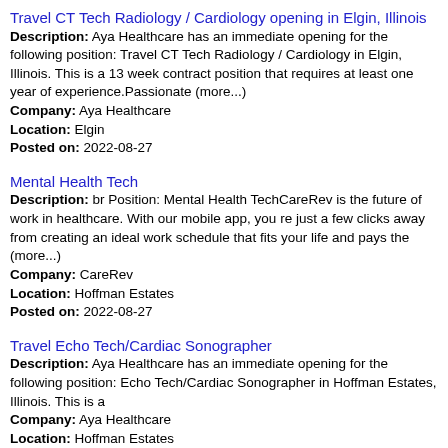Travel CT Tech Radiology / Cardiology opening in Elgin, Illinois
Description: Aya Healthcare has an immediate opening for the following position: Travel CT Tech Radiology / Cardiology in Elgin, Illinois. This is a 13 week contract position that requires at least one year of experience.Passionate (more...)
Company: Aya Healthcare
Location: Elgin
Posted on: 2022-08-27
Mental Health Tech
Description: br Position: Mental Health TechCareRev is the future of work in healthcare. With our mobile app, you re just a few clicks away from creating an ideal work schedule that fits your life and pays the (more...)
Company: CareRev
Location: Hoffman Estates
Posted on: 2022-08-27
Travel Echo Tech/Cardiac Sonographer
Description: Aya Healthcare has an immediate opening for the following position: Echo Tech/Cardiac Sonographer in Hoffman Estates, Illinois. This is a
Company: Aya Healthcare
Location: Hoffman Estates
Posted on: 2022-08-28